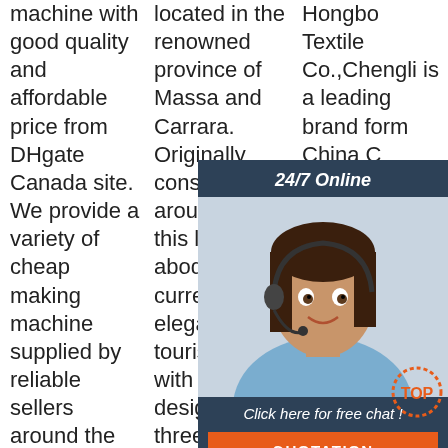machine with good quality and affordable price from DHgate Canada site. We provide a variety of cheap making machine supplied by reliable sellers around the world. It's our pleasure to provide an online platform
located in the renowned province of Massa and Carrara. Originally constructed around 1700, this luxury abode is currently an elegant tourist resort with SPA, designed on three levels. The ground floor is the
Hongbo Textile Co.,Chengli is a leading brand form China C... co... as... e... Zh... D... H... C... now operates globally. Get variety of products in reasonable
[Figure (illustration): Live chat widget overlay with a woman wearing a headset, '24/7 Online' banner, 'Click here for free chat!' text, and an orange QUOTATION button]